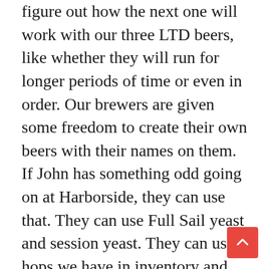figure out how the next one will work with our three LTD beers, like whether they will run for longer periods of time or even in order. Our brewers are given some freedom to create their own beers with their names on them. If John has something odd going on at Harborside, they can use that. They can use Full Sail yeast and session yeast. They can use hops we have in inventory and we’ll buy specialty malts. It’s more of a challenge to them. People who come in here have already been filtered a bit. It’s not the Bud light guy coming in. With that group in mind, I ask them, “Where do you fit in?” I think this ESB, Extra Special Barney, named after the brewer, is particularly interesting because when you compare that with the Amber, a Northwest-style ESB, and it’s very English. Set the